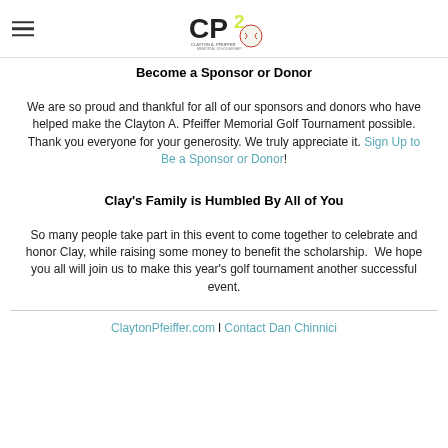CP2 Clayton A. Pfeiffer Memorial Scholarship logo
Become a Sponsor or Donor
We are so proud and thankful for all of our sponsors and donors who have helped make the Clayton A. Pfeiffer Memorial Golf Tournament possible. Thank you everyone for your generosity. We truly appreciate it. Sign Up to Be a Sponsor or Donor!
Clay's Family is Humbled By All of You
So many people take part in this event to come together to celebrate and honor Clay, while raising some money to benefit the scholarship.  We hope you all will join us to make this year's golf tournament another successful event.
ClaytonPfeiffer.com l Contact Dan Chinnici